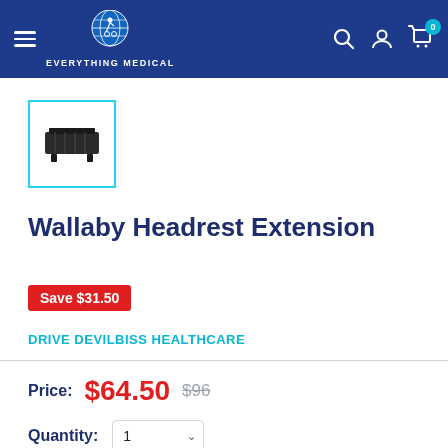Everything Medical — navigation header with logo, search, account, and cart icons
[Figure (photo): Thumbnail image of Wallaby Headrest Extension product, black hardware accessory, shown in a teal-bordered box]
Wallaby Headrest Extension
Save $31.50
DRIVE DEVILBISS HEALTHCARE
Price: $64.50  $96
Quantity: 1